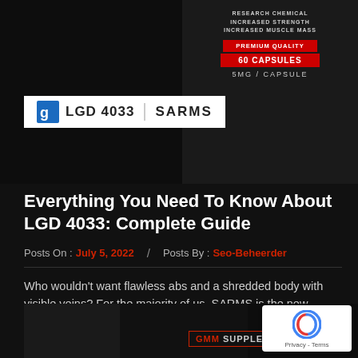[Figure (photo): Product supplement bottle image for LGD 4033 SARMS showing Research Chemical, Increased Strength, Increased Muscle Mass, Premium Quality, 60 Capsules, 5MG / Capsule labels]
Everything You Need To Know About LGD 4033: Complete Guide
Posts On : July 5, 2022  /  Posts By : Seo-Beheerder
Who wouldn't want flawless abs and a shredded body with visible veins? For the majority of us, SARMS is the new method of
Read More
[Figure (photo): Bottom strip showing a person and GMM SUPPLE branding, with reCAPTCHA badge in bottom right corner]